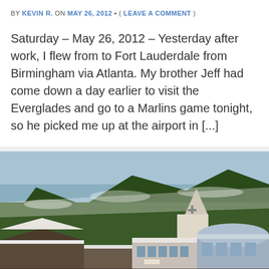BY KEVIN R. ON MAY 26, 2012 • ( LEAVE A COMMENT )
Saturday – May 26, 2012 – Yesterday after work, I flew from to Fort Lauderdale from Birmingham via Atlanta. My brother Jeff had come down a day earlier to visit the Everglades and go to a Marlins game tonight, so he picked me up at the airport in [...]
[Figure (photo): Aerial view of a snowy ski resort village with buildings, a church steeple, dense pine tree forest in the background covered in snow, and crowds of people on the ground level.]